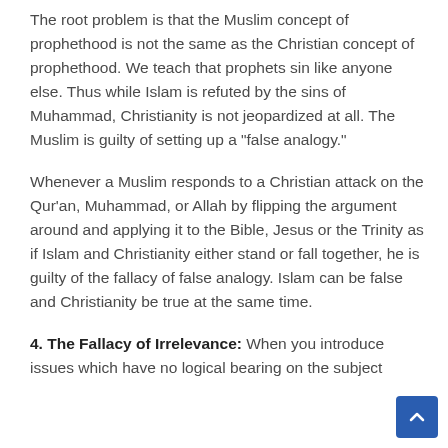The root problem is that the Muslim concept of prophethood is not the same as the Christian concept of prophethood. We teach that prophets sin like anyone else. Thus while Islam is refuted by the sins of Muhammad, Christianity is not jeopardized at all. The Muslim is guilty of setting up a "false analogy."
Whenever a Muslim responds to a Christian attack on the Qur'an, Muhammad, or Allah by flipping the argument around and applying it to the Bible, Jesus or the Trinity as if Islam and Christianity either stand or fall together, he is guilty of the fallacy of false analogy. Islam can be false and Christianity be true at the same time.
4. The Fallacy of Irrelevance: When you introduce issues which have no logical bearing on the subject